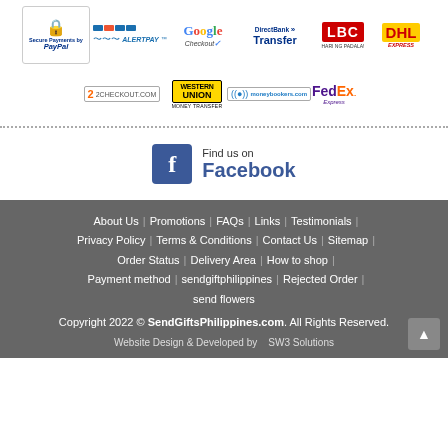[Figure (logo): Payment method logos: PayPal, AlertPay, Google Checkout, DirectBank Transfer, Western Union Money Transfer, LBC, DHL Express, 2Checkout, Moneybookers, FedEx Express]
[Figure (logo): Find us on Facebook widget with Facebook icon and text]
About Us | Promotions | FAQs | Links | Testimonials | Privacy Policy | Terms & Conditions | Contact Us | Sitemap | Order Status | Delivery Area | How to shop | Payment method | sendgiftphilippines | Rejected Order | send flowers
Copyright 2022 © SendGiftsPhilippines.com. All Rights Reserved.
Website Design & Developed by   SW3 Solutions